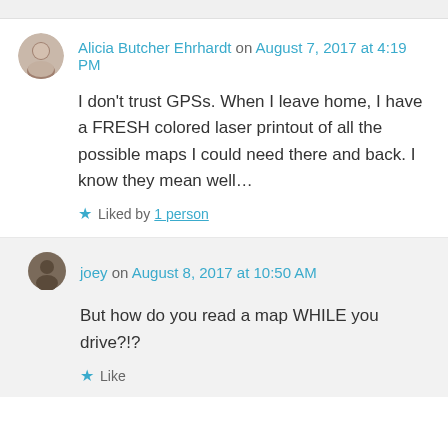Alicia Butcher Ehrhardt on August 7, 2017 at 4:19 PM
I don't trust GPSs. When I leave home, I have a FRESH colored laser printout of all the possible maps I could need there and back. I know they mean well…
★ Liked by 1 person
joey on August 8, 2017 at 10:50 AM
But how do you read a map WHILE you drive?!?
★ Like